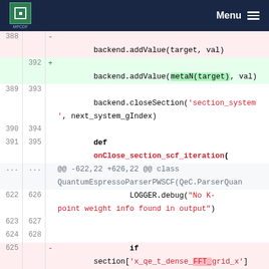MPCDF | Menu
Code diff showing changes to a Python parser file (QuantumEspressoParserPWSCF). Lines 388-626 shown with removed and added lines.